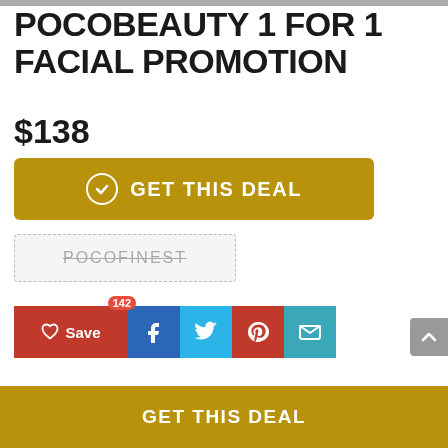POCOBEAUTY 1 FOR 1 FACIAL PROMOTION
$138
GET THIS DEAL
POCOFINEST
Save 142
GET THIS DEAL